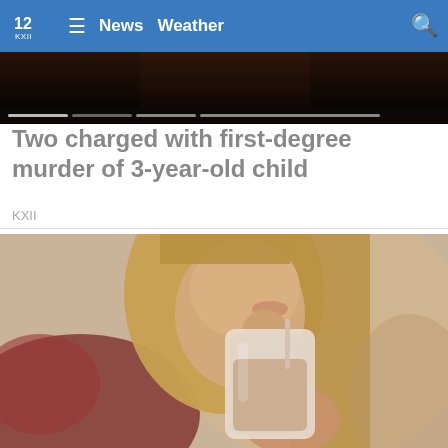12 KXII News Weather
[Figure (screenshot): Video carousel strip showing a dark reddish-brown image with dot progress indicators at the bottom]
Two charged with first-degree murder of 3-year-old child
KXII
[Figure (photo): Young woman with long blonde hair drinking from a mason jar with a straw, blurred colorful background]